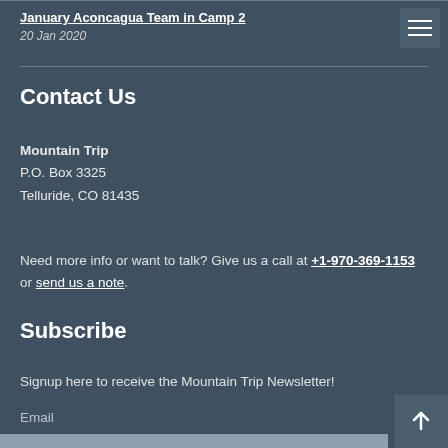January Aconcagua Team in Camp 2
20 Jan 2020
Contact Us
Mountain Trip
P.O. Box 3325
Telluride, CO 81435
Need more info or want to talk? Give us a call at +1-970-369-1153 or send us a note.
Subscribe
Signup here to receive the Mountain Trip Newsletter!
Email